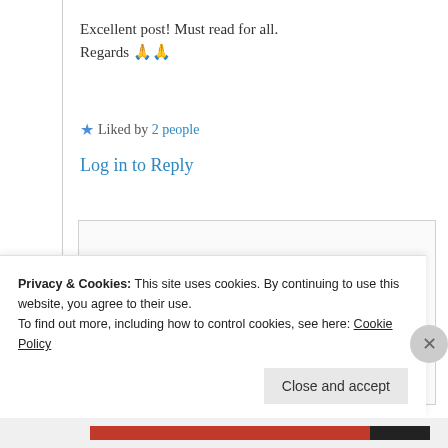Excellent post! Must read for all.
Regards 🙏🙏
★ Liked by 2 people
Log in to Reply
[Figure (photo): Circular avatar photo of user hgamma, black and white portrait]
hgamma
12th Jul 2021 at
Privacy & Cookies: This site uses cookies. By continuing to use this website, you agree to their use.
To find out more, including how to control cookies, see here: Cookie Policy
Close and accept